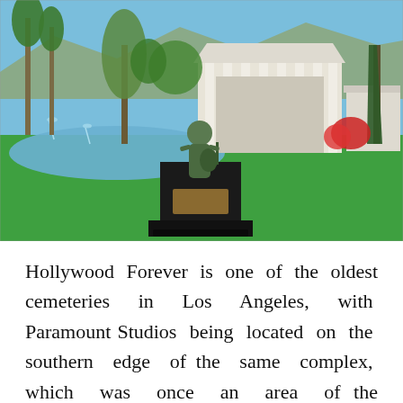[Figure (photo): Outdoor photograph of Hollywood Forever Cemetery showing a bronze statue of a guitarist on a dark pedestal in the foreground, a Greek-revival mausoleum with tall white columns in the background, a lake with fountains, green lawns, palm trees, and red flowering shrubs.]
Hollywood Forever is one of the oldest cemeteries in Los Angeles, with Paramount Studios being located on the southern edge of the same complex, which was once an area of the cemetery. It also has a...